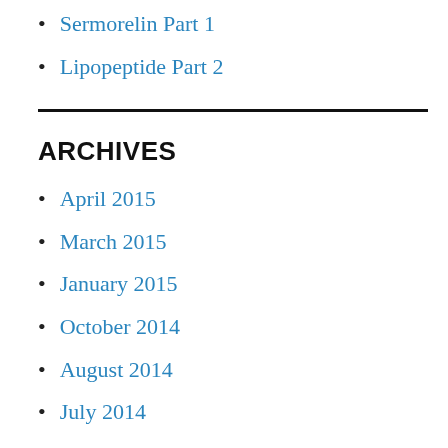Sermorelin Part 1
Lipopeptide Part 2
ARCHIVES
April 2015
March 2015
January 2015
October 2014
August 2014
July 2014
May 2014
April 2014
March 2014